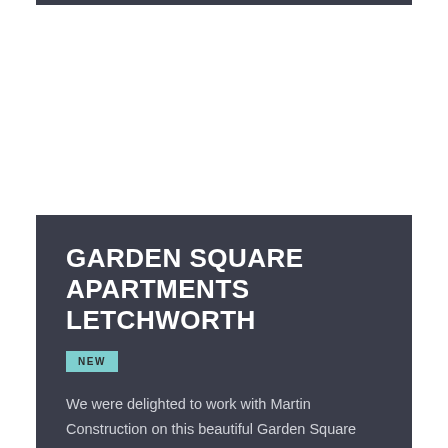[Figure (photo): White/blank image area at top of card, showing a building or apartment exterior (content mostly white in this crop)]
GARDEN SQUARE APARTMENTS LETCHWORTH
NEW
We were delighted to work with Martin Construction on this beautiful Garden Square Apartment project in Letchworth, London.